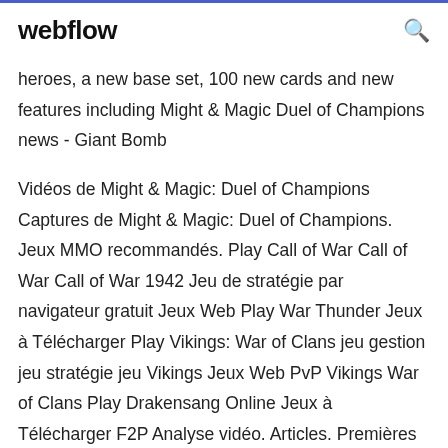webflow
heroes, a new base set, 100 new cards and new features including Might & Magic Duel of Champions news - Giant Bomb
Vidéos de Might & Magic: Duel of Champions Captures de Might & Magic: Duel of Champions. Jeux MMO recommandés. Play Call of War Call of War Call of War 1942 Jeu de stratégie par navigateur gratuit Jeux Web Play War Thunder Jeux à Télécharger Play Vikings: War of Clans jeu gestion jeu stratégie jeu Vikings Jeux Web PvP Vikings War of Clans Play Drakensang Online Jeux à Télécharger F2P Analyse vidéo. Articles. Premières Might & Magic: Duel of Champions • Eurogamer.net